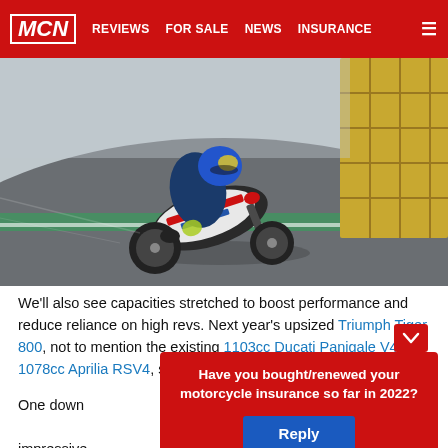MCN | REVIEWS | FOR SALE | NEWS | INSURANCE
[Figure (photo): Racing motorcycle (BMW S1000RR livery, white/blue/red) with rider in full gear leaning into a track corner, tyre barriers visible in background]
We'll also see capacities stretched to boost performance and reduce reliance on high revs. Next year's upsized Triumph Tiger 800, not to mention the existing 1103cc Ducati Panigale V4 and 1078cc Aprilia RSV4, sho...
[Figure (other): Poll overlay: Have you bought/renewed your motorcycle insurance so far in 2022? with Reply button]
One down... more impressive... ore expensive... nsive in